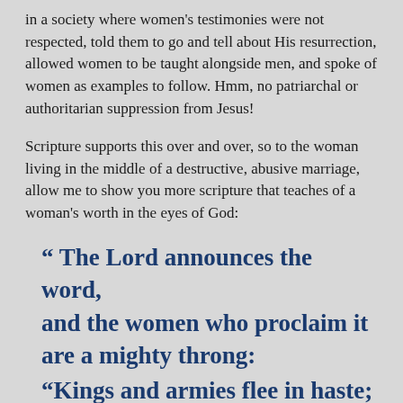in a society where women's testimonies were not respected, told them to go and tell about His resurrection, allowed women to be taught alongside men, and spoke of women as examples to follow. Hmm, no patriarchal or authoritarian suppression from Jesus!
Scripture supports this over and over, so to the woman living in the middle of a destructive, abusive marriage, allow me to show you more scripture that teaches of a woman's worth in the eyes of God:
“ The Lord announces the word, and the women who proclaim it are a mighty throng: “Kings and armies flee in haste; the women at home divide the